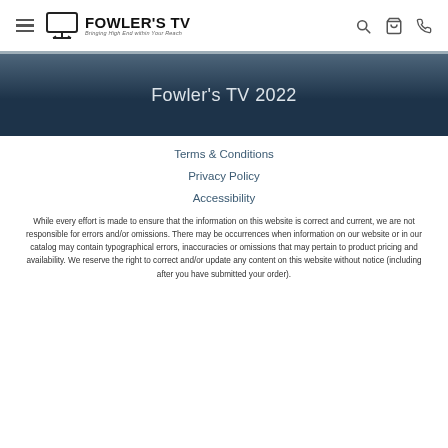FOWLER'S TV — Bringing High End within Your Reach
Fowler's TV 2022
Terms & Conditions
Privacy Policy
Accessibility
While every effort is made to ensure that the information on this website is correct and current, we are not responsible for errors and/or omissions. There may be occurrences when information on our website or in our catalog may contain typographical errors, inaccuracies or omissions that may pertain to product pricing and availability. We reserve the right to correct and/or update any content on this website without notice (including after you have submitted your order).